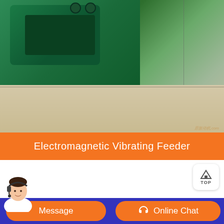[Figure (photo): Close-up photo of a green electromagnetic vibrating feeder machine on a sandy/concrete surface, with a thin wire visible]
Electromagnetic Vibrating Feeder
40
Years Of Experience
400
Industrial Workshop
Message
Online Chat